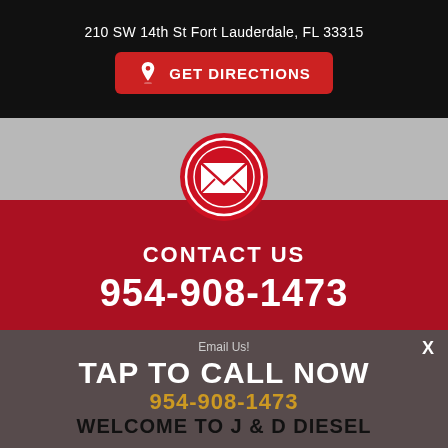210 SW 14th St Fort Lauderdale, FL 33315
[Figure (screenshot): Red 'GET DIRECTIONS' button with map pin icon]
[Figure (infographic): Red circle with white envelope/email icon]
CONTACT US
954-908-1473
Email Us!
TAP TO CALL NOW
954-908-1473
WELCOME TO J & D DIESEL